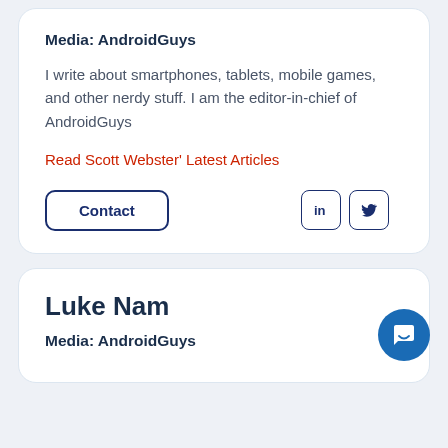Media: AndroidGuys
I write about smartphones, tablets, mobile games, and other nerdy stuff. I am the editor-in-chief of AndroidGuys
Read Scott Webster' Latest Articles
Contact
Luke Nam
Media: AndroidGuys